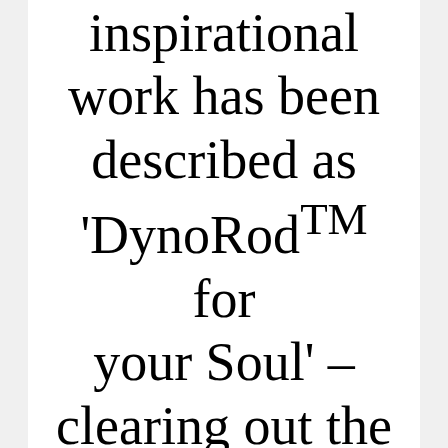unique and inspirational work has been described as 'DynoRodTM for your Soul' – clearing out the hidden blocks that had kept